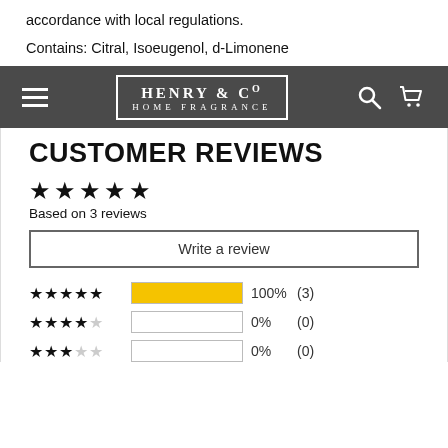accordance with local regulations.
Contains: Citral, Isoeugenol, d-Limonene
[Figure (screenshot): Henry & Co Home Fragrance navigation bar with hamburger menu, logo, search icon, and cart icon on dark grey background]
CUSTOMER REVIEWS
★★★★★ Based on 3 reviews
Write a review
★★★★★ 100% (3)
★★★★☆ 0% (0)
★★★☆☆ 0% (0)